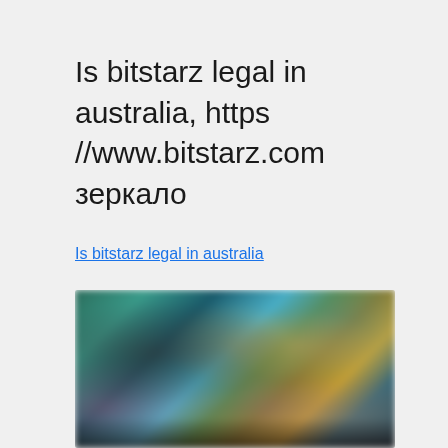Is bitstarz legal in australia, https //www.bitstarz.com зеркало
Is bitstarz legal in australia
[Figure (photo): Blurred screenshot of the Bitstarz casino website showing colorful game thumbnails and characters on a teal/dark background]